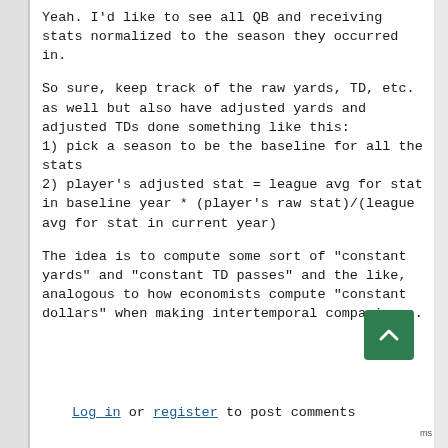Yeah. I'd like to see all QB and receiving stats normalized to the season they occurred in.
So sure, keep track of the raw yards, TD, etc. as well but also have adjusted yards and adjusted TDs done something like this:
1) pick a season to be the baseline for all the stats
2) player's adjusted stat = league avg for stat in baseline year * (player's raw stat)/(league avg for stat in current year)
The idea is to compute some sort of "constant yards" and "constant TD passes" and the like, analogous to how economists compute "constant dollars" when making intertemporal comparisons.
Log in or register to post comments